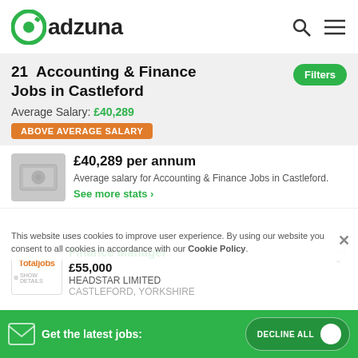[Figure (logo): Adzuna green circular logo with 'adzuna' text]
21 Accounting & Finance Jobs in Castleford
Average Salary: £40,289
ABOVE AVERAGE SALARY
£40,289 per annum
Average salary for Accounting & Finance Jobs in Castleford.
See more stats ›
This website uses cookies to improve user experience. By using our website you consent to all cookies in accordance with our Cookie Policy.
Finance Manager
£55,000
HEADSTAR LIMITED
CASTLEFORD, YORKSHIRE
Get the latest jobs:
DECLINE ALL